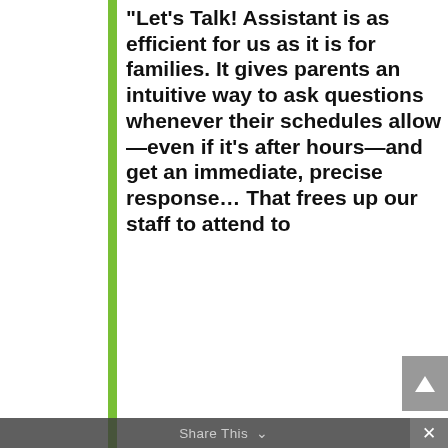“Let’s Talk! Assistant is as efficient for us as it is for families. It gives parents an intuitive way to ask questions whenever their schedules allow—even if it’s after hours—and get an immediate, precise response… That frees up our staff to attend to [providing high-touch interactions…]” Krista [last name], [Education Officer / Chief Education Officer], [Name of] Schools
We use cookies on our website to give you the most relevant experience by remembering your preferences and repeat visits. By clicking “Accept All”, you consent to the use of ALL the cookies. However, you may visit "Cookie Settings" to provide a controlled consent.
Cookie Settings   Accept All
Share This